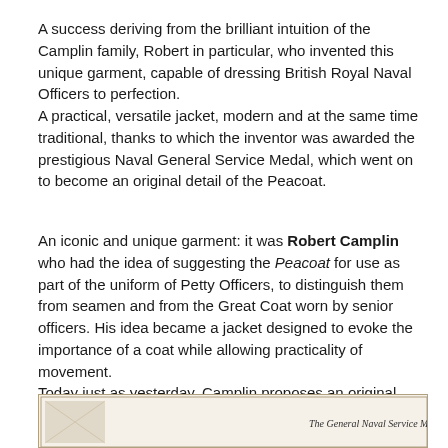A success deriving from the brilliant intuition of the Camplin family, Robert in particular, who invented this unique garment, capable of dressing British Royal Naval Officers to perfection.
A practical, versatile jacket, modern and at the same time traditional, thanks to which the inventor was awarded the prestigious Naval General Service Medal, which went on to become an original detail of the Peacoat.
An iconic and unique garment: it was Robert Camplin who had the idea of suggesting the Peacoat for use as part of the uniform of Petty Officers, to distinguish them from seamen and from the Great Coat worn by senior officers. His idea became a jacket designed to evoke the importance of a coat while allowing practicality of movement.
Today just as yesterday, Camplin proposes an original style that evokes the Heritage tradition, with a nod to modernity and personalisation, luxury and practicality: the brand was reborn 12 years ago in Italy, also extending beyond the borders of Europe, thanks to the exclusivity of each product made.
[Figure (photo): Partial view of a document or certificate titled 'The General Naval Service Medal' with decorative border]